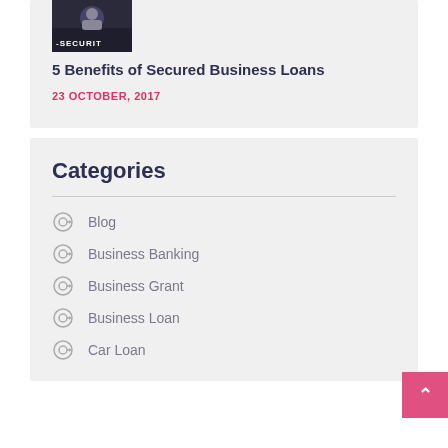[Figure (photo): Security-themed thumbnail image with text SECURIT overlay]
5 Benefits of Secured Business Loans
23 OCTOBER, 2017
Categories
Blog
Business Banking
Business Grant
Business Loan
Car Loan